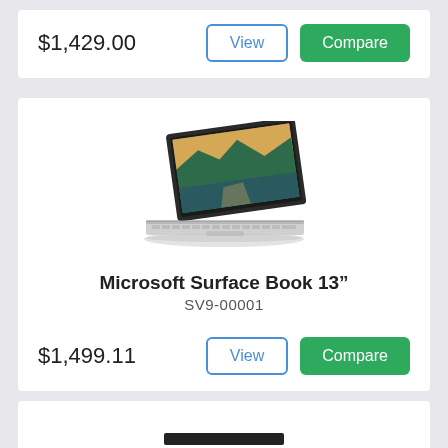$1,429.00
View
Compare
[Figure (photo): Microsoft Surface Book 13-inch laptop, open at an angle, showing a nature landscape on screen, with silver keyboard and kickstand base]
Microsoft Surface Book 13”
SV9-00001
$1,499.11
View
Compare